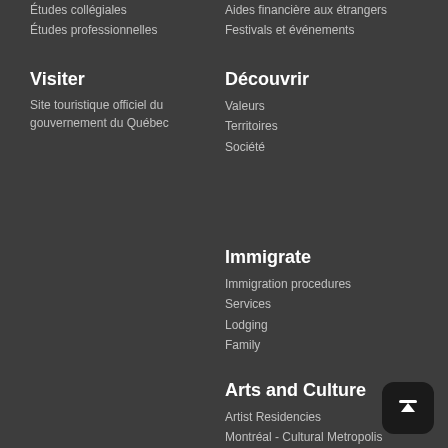Études collégiales
Études professionnelles
Visiter
Site touristique officiel du gouvernement du Québec
Aides financière aux étrangers
Festivals et événements
Découvrir
Valeurs
Territoires
Société
Immigrate
Immigration procedures
Services
Lodging
Family
Arts and Culture
Artist Residencies
Montréal - Cultural Metropolis
Financial Aids
Festivals and Events
About
Who we are